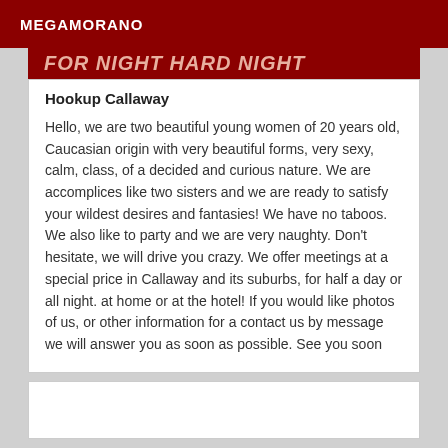MEGAMORANO
FOR NIGHT HARD NIGHT
Hookup Callaway
Hello, we are two beautiful young women of 20 years old, Caucasian origin with very beautiful forms, very sexy, calm, class, of a decided and curious nature. We are accomplices like two sisters and we are ready to satisfy your wildest desires and fantasies! We have no taboos. We also like to party and we are very naughty. Don't hesitate, we will drive you crazy. We offer meetings at a special price in Callaway and its suburbs, for half a day or all night. at home or at the hotel! If you would like photos of us, or other information for a contact us by message we will answer you as soon as possible. See you soon